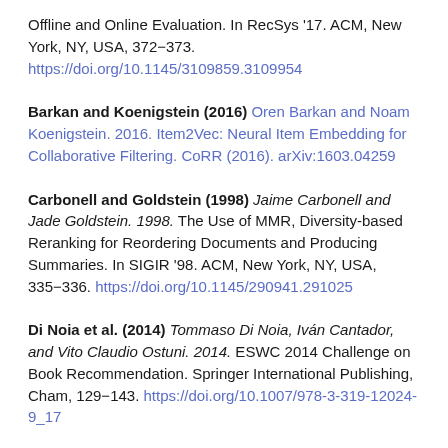Offline and Online Evaluation. In RecSys '17. ACM, New York, NY, USA, 372–373. https://doi.org/10.1145/3109859.3109954
Barkan and Koenigstein (2016) Oren Barkan and Noam Koenigstein. 2016. Item2Vec: Neural Item Embedding for Collaborative Filtering. CoRR (2016). arXiv:1603.04259
Carbonell and Goldstein (1998) Jaime Carbonell and Jade Goldstein. 1998. The Use of MMR, Diversity-based Reranking for Reordering Documents and Producing Summaries. In SIGIR '98. ACM, New York, NY, USA, 335–336. https://doi.org/10.1145/290941.291025
Di Noia et al. (2014) Tommaso Di Noia, Iván Cantador, and Vito Claudio Ostuni. 2014. ESWC 2014 Challenge on Book Recommendation. Springer International Publishing, Cham, 129–143. https://doi.org/10.1007/978-3-319-12024-9_17